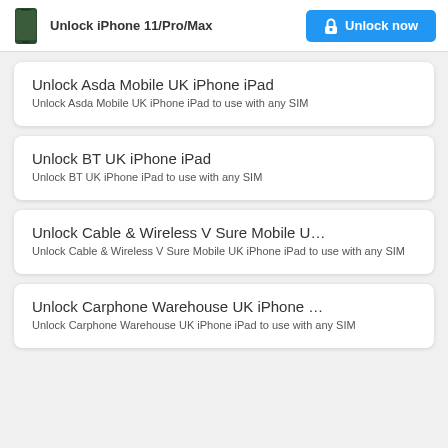Unlock iPhone 11/Pro/Max | Unlock now
Unlock Asda Mobile UK iPhone iPad
Unlock Asda Mobile UK iPhone iPad to use with any SIM
Unlock BT UK iPhone iPad
Unlock BT UK iPhone iPad to use with any SIM
Unlock Cable & Wireless V Sure Mobile U…
Unlock Cable & Wireless V Sure Mobile UK iPhone iPad to use with any SIM
Unlock Carphone Warehouse UK iPhone …
Unlock Carphone Warehouse UK iPhone iPad to use with any SIM